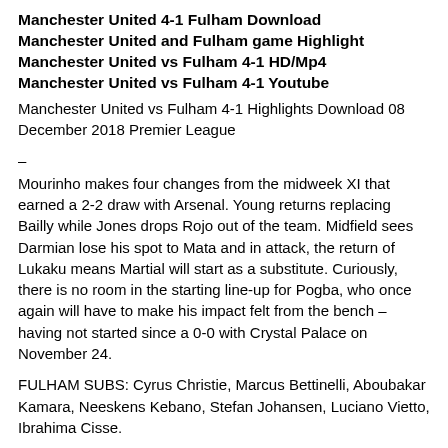Manchester United 4-1 Fulham Download Manchester United and Fulham game Highlight Manchester United vs Fulham 4-1 HD/Mp4 Manchester United vs Fulham 4-1 Youtube
Manchester United vs Fulham 4-1 Highlights Download 08 December 2018 Premier League
–
Mourinho makes four changes from the midweek XI that earned a 2-2 draw with Arsenal. Young returns replacing Bailly while Jones drops Rojo out of the team. Midfield sees Darmian lose his spot to Mata and in attack, the return of Lukaku means Martial will start as a substitute. Curiously, there is no room in the starting line-up for Pogba, who once again will have to make his impact felt from the bench – having not started since a 0-0 with Crystal Palace on November 24.
FULHAM SUBS: Cyrus Christie, Marcus Bettinelli, Aboubakar Kamara, Neeskens Kebano, Stefan Johansen, Luciano Vietto, Ibrahima Cisse.